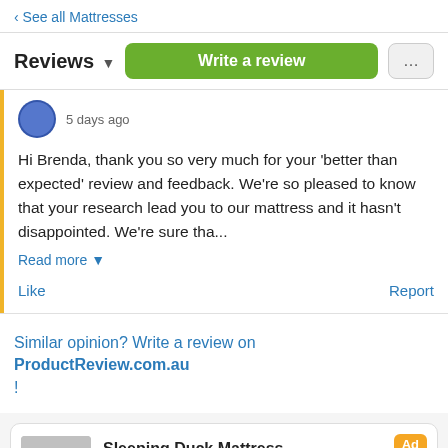< See all Mattresses
Reviews ▾   Write a review   ...
5 days ago
Hi Brenda, thank you so very much for your 'better than expected' review and feedback. We're so pleased to know that your research lead you to our mattress and it hasn't disappointed. We're sure tha...
Read more ▾
Like    Report
Similar opinion? Write a review on ProductReview.com.au!
Sleeping Duck Mattress  4.8 from 5,233 reviews  Ad